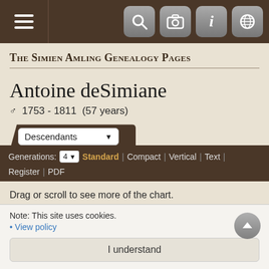The Simien Amling Genealogy Pages — navigation bar
The Simien Amling Genealogy Pages
Antoine deSimiane
♂ 1753 - 1811  (57 years)
Descendants | Generations: 4 | Standard | Compact | Vertical | Text | Register | PDF
Drag or scroll to see more of the chart.
Note: This site uses cookies.
• View policy
I understand